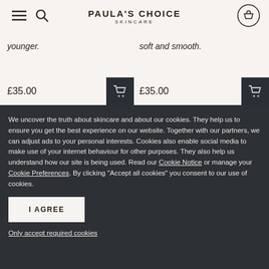PAULA'S CHOICE SKINCARE
younger.
soft and smooth.
£35.00
£35.00
We uncover the truth about skincare and about our cookies. They help us to ensure you get the best experience on our website. Together with our partners, we can adjust ads to your personal interests. Cookies also enable social media to make use of your internet behaviour for other purposes. They also help us understand how our site is being used. Read our Cookie Notice or manage your Cookie Preferences. By clicking "Accept all cookies" you consent to our use of cookies.
I AGREE
Only accept required cookies